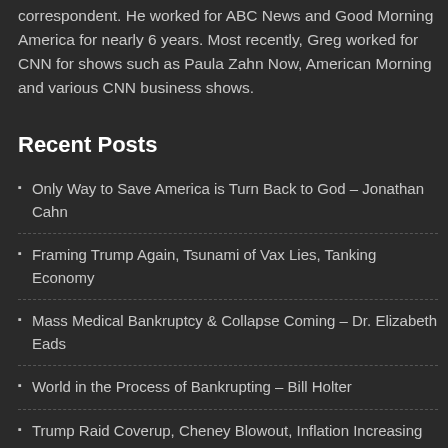correspondent. He worked for ABC News and Good Morning America for nearly 6 years. Most recently, Greg worked for CNN for shows such as Paula Zahn Now, American Morning and various CNN business shows.
Recent Posts
Only Way to Save America is Turn Back to God – Jonathan Cahn
Framing Trump Again, Tsunami of Vax Lies, Tanking Economy
Mass Medical Bankruptcy & Collapse Coming – Dr. Elizabeth Eads
World in the Process of Bankrupting – Bill Holter
Trump Raid Coverup, Cheney Blowout, Inflation Increasing
Radical Drought Caused by Military Weather Weapons –